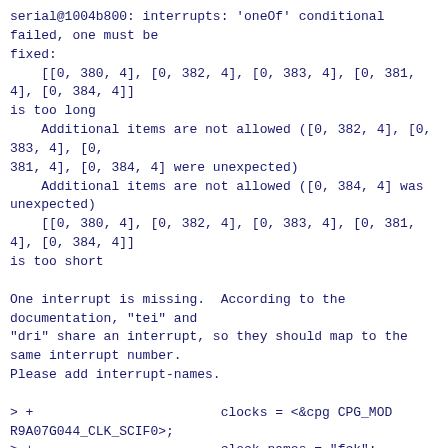serial@1004b800: interrupts: 'oneOf' conditional failed, one must be fixed:
    [[0, 380, 4], [0, 382, 4], [0, 383, 4], [0, 381, 4], [0, 384, 4]]
is too long
    Additional items are not allowed ([0, 382, 4], [0, 383, 4], [0, 381, 4], [0, 384, 4] were unexpected)
    Additional items are not allowed ([0, 384, 4] was unexpected)
    [[0, 380, 4], [0, 382, 4], [0, 383, 4], [0, 381, 4], [0, 384, 4]]
is too short

One interrupt is missing.  According to the documentation, "tei" and "dri" share an interrupt, so they should map to the same interrupt number.
Please add interrupt-names.

> +                        clocks = <&cpg CPG_MOD R9A07G044_CLK_SCIF0>;
> +                        clock-names = "fck";
> +                        power-domains = <&cpg>;
> +                        resets = <&cpg R9A07G044_CLK_SCIF0>;
> +                        status = "disabled";
> +          };
> +